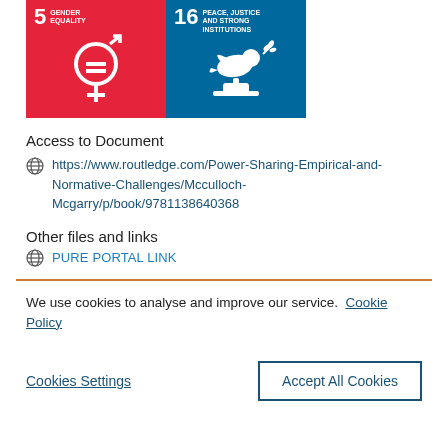[Figure (infographic): Two UN Sustainable Development Goal icons side by side: SDG 5 Gender Equality (red background, gender equality symbol) and SDG 16 Peace Justice and Strong Institutions (blue background, dove with olive branch and gavel)]
Access to Document
https://www.routledge.com/Power-Sharing-Empirical-and-Normative-Challenges/Mcculloch-Mcgarry/p/book/9781138640368
Other files and links
PURE PORTAL LINK
We use cookies to analyse and improve our service.  Cookie Policy
Cookies Settings
Accept All Cookies